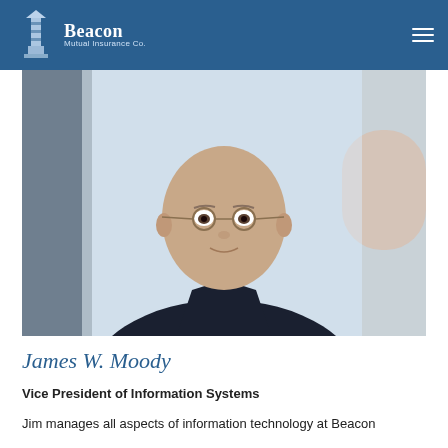Beacon Mutual Insurance Co.
[Figure (photo): Professional headshot of James W. Moody, a bald man wearing glasses and a dark suit with a tan patterned tie, photographed in a bright indoor/outdoor setting with blurred background.]
James W. Moody
Vice President of Information Systems
Jim manages all aspects of information technology at Beacon